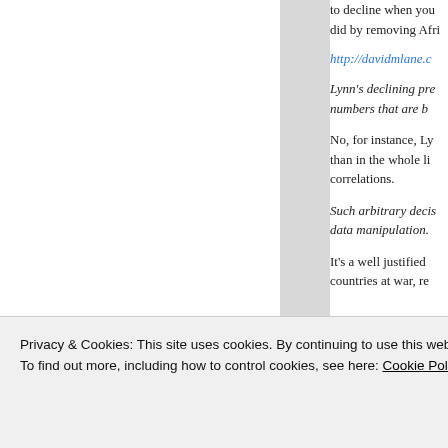to decline when you did by removing Afri
http://davidmlane.c
Lynn's declining pre numbers that are b
No, for instance, Ly than in the whole li correlations.
Such arbitrary decis data manipulation.
It's a well justified countries at war, re en
Privacy & Cookies: This site uses cookies. By continuing to use this website, you agree to their use.
To find out more, including how to control cookies, see here: Cookie Policy
Close and accept